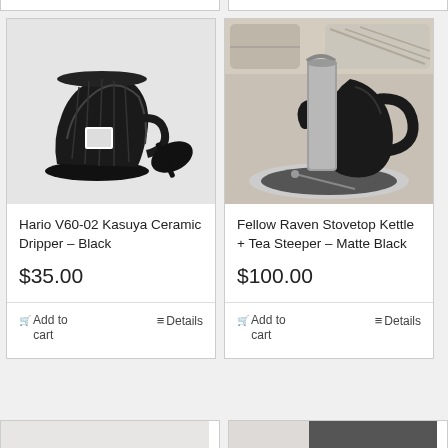[Figure (photo): Black Hario V60-02 Kasuya ceramic coffee dripper with black plastic scoop on white background]
Hario V60-02 Kasuya Ceramic Dripper – Black
$35.00
Add to cart
Details
[Figure (photo): Fellow Raven stovetop kettle matte black with tea steeper on dark slate coaster, sofa in background]
Fellow Raven Stovetop Kettle + Tea Steeper – Matte Black
$100.00
Add to cart
Details